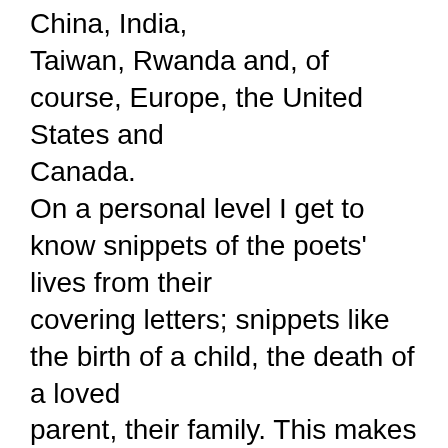China, India, Taiwan, Rwanda and, of course, Europe, the United States and Canada. On a personal level I get to know snippets of the poets' lives from their covering letters; snippets like the birth of a child, the death of a loved parent, their family. This makes them poets and people, not just cyphers. And then there is the poetry; often different in emphasis with stress on the spiritual or local politics, concerns which cross boundaries like love and loss, beauty and ugliness in the world, people's jobs, their countries, their views of the world. Unfamiliar names suddenly become familiar and I look forward to opening their emails and catching up since their last submissions. It has been an honour and a priviledge to get to